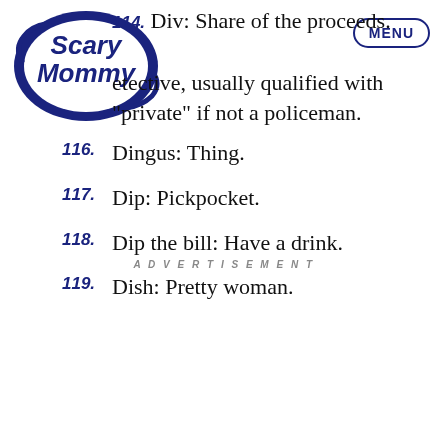[Figure (logo): Scary Mommy logo in dark navy blue, decorative script style]
[Figure (other): MENU button — oval outline with MENU text in navy blue, top right]
114. Div: Share of the proceeds.
115. Detective, usually qualified with "private" if not a policeman.
116. Dingus: Thing.
117. Dip: Pickpocket.
118. Dip the bill: Have a drink.
119. Dish: Pretty woman.
ADVERTISEMENT